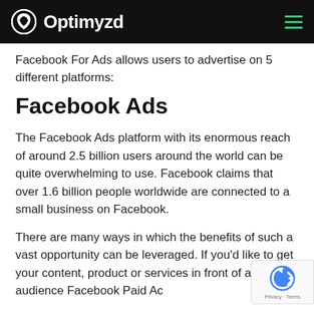Optimyzd
Facebook For Ads allows users to advertise on 5 different platforms:
Facebook Ads
The Facebook Ads platform with its enormous reach of around 2.5 billion users around the world can be quite overwhelming to use. Facebook claims that over 1.6 billion people worldwide are connected to a small business on Facebook.
There are many ways in which the benefits of such a vast opportunity can be leveraged. If you'd like to get your content, product or services in front of a large audience Facebook Paid Ads would be...